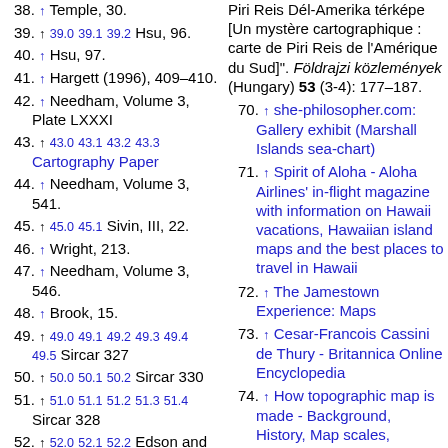38. ↑ Temple, 30.
39. ↑ 39.0 39.1 39.2 Hsu, 96.
40. ↑ Hsu, 97.
41. ↑ Hargett (1996), 409–410.
42. ↑ Needham, Volume 3, Plate LXXXI
43. ↑ 43.0 43.1 43.2 43.3 Cartography Paper
44. ↑ Needham, Volume 3, 541.
45. ↑ 45.0 45.1 Sivin, III, 22.
46. ↑ Wright, 213.
47. ↑ Needham, Volume 3, 546.
48. ↑ Brook, 15.
49. ↑ 49.0 49.1 49.2 49.3 49.4 49.5 Sircar 327
50. ↑ 50.0 50.1 50.2 Sircar 330
51. ↑ 51.0 51.1 51.2 51.3 51.4 Sircar 328
52. ↑ 52.0 52.1 52.2 Edson and Savage-Smith (2004), p. 51-?
69. Piri Reis Dél-Amerika térképe [Un mystère cartographique : carte de Piri Reis de l'Amérique du Sud]. Földrajzi közlemények (Hungary) 53 (3-4): 177–187.
70. ↑ she-philosopher.com: Gallery exhibit (Marshall Islands sea-chart)
71. ↑ Spirit of Aloha - Aloha Airlines' in-flight magazine with information on Hawaii vacations, Hawaiian island maps and the best places to travel in Hawaii
72. ↑ The Jamestown Experience: Maps
73. ↑ Cesar-Francois Cassini de Thury - Britannica Online Encyclopedia
74. ↑ How topographic map is made - Background, History, Map scales,